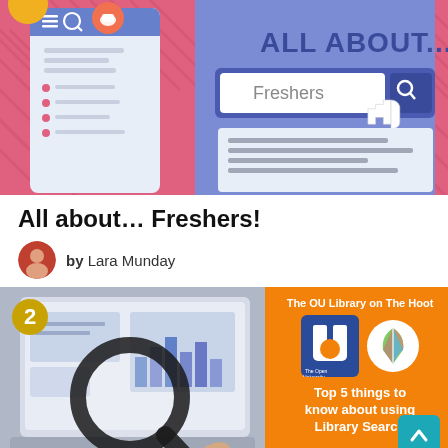[Figure (illustration): Hero banner illustration showing a mobile app screen and a search interface with 'ALL ABOUT...' text and a search box containing 'Freshers', with a pink/purple decorative background]
All about… Freshers!
by Lara Munday
[Figure (illustration): Orange card numbered 2, showing a photo of a person using a magnifying glass over a laptop, alongside OU Library branding on The Hoot with Open University and feather logos, and text 'Top 5 things to know about using Library Search']